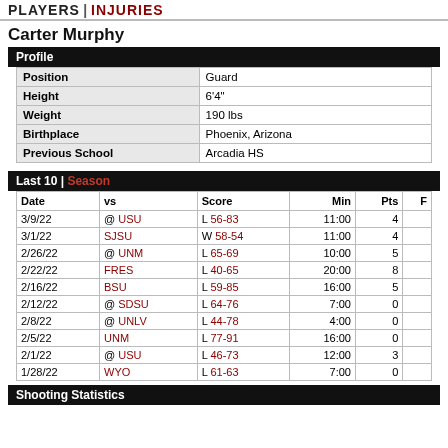PLAYERS | INJURIES
Carter Murphy
Profile
|  |  |
| --- | --- |
| Position | Guard |
| Height | 6'4" |
| Weight | 190 lbs |
| Birthplace | Phoenix, Arizona |
| Previous School | Arcadia HS |
Last 10 | Season
| Date | vs | Score | Min | Pts | F |
| --- | --- | --- | --- | --- | --- |
| 3/9/22 | @ USU | L 56-83 | 11:00 | 4 |  |
| 3/1/22 | SJSU | W 58-54 | 11:00 | 4 |  |
| 2/26/22 | @ UNM | L 65-69 | 10:00 | 5 |  |
| 2/22/22 | FRES | L 40-65 | 20:00 | 8 |  |
| 2/16/22 | BSU | L 59-85 | 16:00 | 5 |  |
| 2/12/22 | @ SDSU | L 64-76 | 7:00 | 0 |  |
| 2/8/22 | @ UNLV | L 44-78 | 4:00 | 0 |  |
| 2/5/22 | UNM | L 77-91 | 16:00 | 0 |  |
| 2/1/22 | @ USU | L 46-73 | 12:00 | 3 |  |
| 1/28/22 | WYO | L 61-63 | 7:00 | 0 |  |
Shooting Statistics